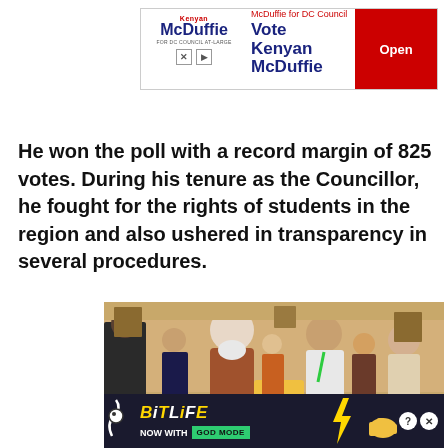[Figure (screenshot): Advertisement banner for Kenyan McDuffie DC Council campaign with red 'Open' button]
He won the poll with a record margin of 825 votes. During his tenure as the Councillor, he fought for the rights of students in the region and also ushered in transparency in several procedures.
[Figure (photo): Photo of two people shaking hands at a formal event with a crowd in the background]
[Figure (screenshot): BitLife advertisement banner: NOW WITH GOD MODE]